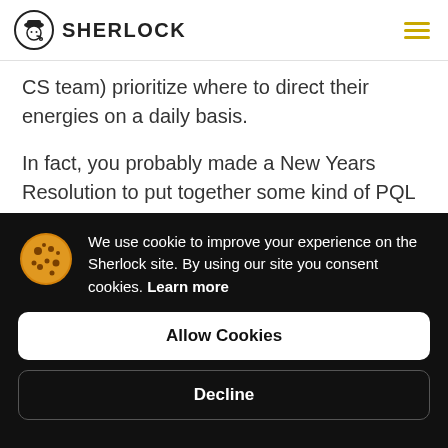SHERLOCK
CS team) prioritize where to direct their energies on a daily basis.
In fact, you probably made a New Years Resolution to put together some kind of PQL (Product Qualified Lead) process for your team some time ago.
The fact is, any PQL program is completely based on
We use cookie to improve your experience on the Sherlock site. By using our site you consent cookies. Learn more
Allow Cookies
Decline